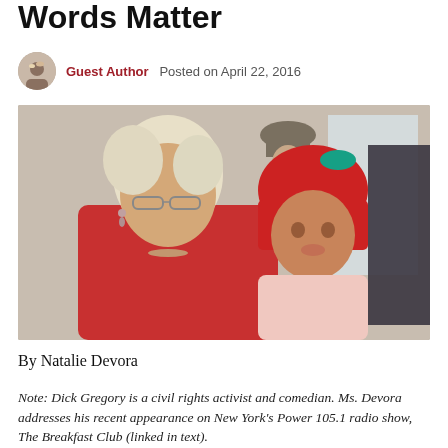Words Matter
Guest Author   Posted on April 22, 2016
[Figure (photo): A woman with light hair and glasses wearing a red top holding a baby in a red hat and pink outfit]
By Natalie Devora
Note: Dick Gregory is a civil rights activist and comedian. Ms. Devora addresses his recent appearance on New York's Power 105.1 radio show, The Breakfast Club (linked in text).